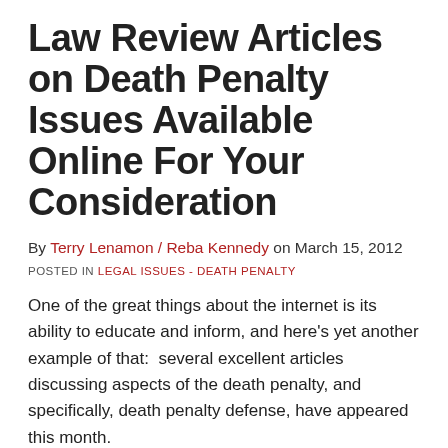Law Review Articles on Death Penalty Issues Available Online For Your Consideration
By Terry Lenamon / Reba Kennedy on March 15, 2012
POSTED IN LEGAL ISSUES - DEATH PENALTY
One of the great things about the internet is its ability to educate and inform, and here's yet another example of that:  several excellent articles discussing aspects of the death penalty, and specifically, death penalty defense, have appeared this month.
All, available for free, online.  Please consider reading the following: